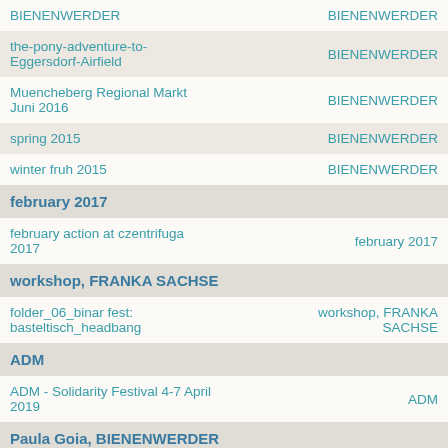| BIENENWERDER | BIENENWERDER |
| the-pony-adventure-to-Eggersdorf-Airfield | BIENENWERDER |
| Muencheberg Regional Markt Juni 2016 | BIENENWERDER |
| spring 2015 | BIENENWERDER |
| winter fruh 2015 | BIENENWERDER |
february 2017
| february action at czentrifuga 2017 | february 2017 |
workshop, FRANKA SACHSE
| folder_06_binar fest: basteltisch_headbang | workshop, FRANKA SACHSE |
ADM
| ADM - Solidarity Festival 4-7 April 2019 | ADM |
Paula Goia, BIENENWERDER
| Paula Honey Workshop | Paula Goia, BIENENWERDER |